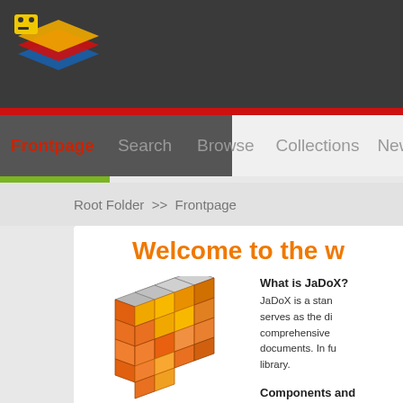[Figure (logo): JaDoX logo with layered diamond shapes and small yellow robot icon on dark header bar]
Frontpage  Search  Browse  Collections  News  Guest
Root Folder >> Frontpage
Welcome to the w
[Figure (illustration): 3D Rubik's cube style illustration with orange, yellow, and grey colored blocks]
What is JaDoX?
JaDoX is a standalone document server, serves as the digital library comprehensive documents. In fu library.
Components and